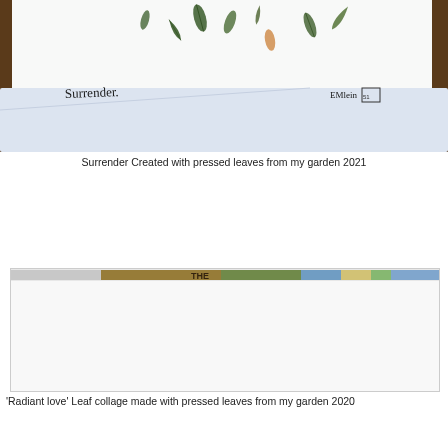[Figure (photo): A greeting card with pressed leaves arranged on white cardstock. The word 'Surrender.' is handwritten in script on the lower left, and an artist signature with a small boxed stamp appears on the lower right. The card rests on a white envelope, placed on a wooden dark brown surface.]
Surrender Created with pressed leaves from my garden 2021
[Figure (photo): A partially visible leaf collage artwork labeled 'Radiant love', made with pressed leaves from the artist's garden, 2020. Only a narrow horizontal strip of the image is visible showing a colorful collage.]
'Radiant love' Leaf collage made with pressed leaves from my garden 2020